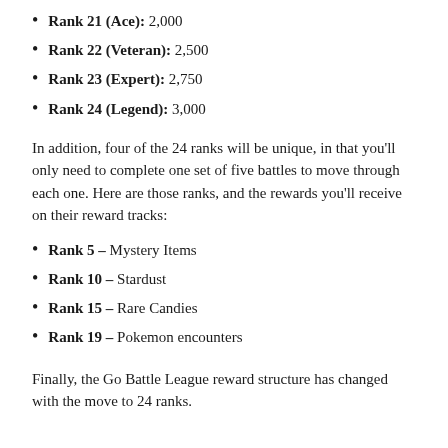Rank 21 (Ace): 2,000
Rank 22 (Veteran): 2,500
Rank 23 (Expert): 2,750
Rank 24 (Legend): 3,000
In addition, four of the 24 ranks will be unique, in that you'll only need to complete one set of five battles to move through each one. Here are those ranks, and the rewards you'll receive on their reward tracks:
Rank 5 - Mystery Items
Rank 10 - Stardust
Rank 15 - Rare Candies
Rank 19 - Pokemon encounters
Finally, the Go Battle League reward structure has changed with the move to 24 ranks.